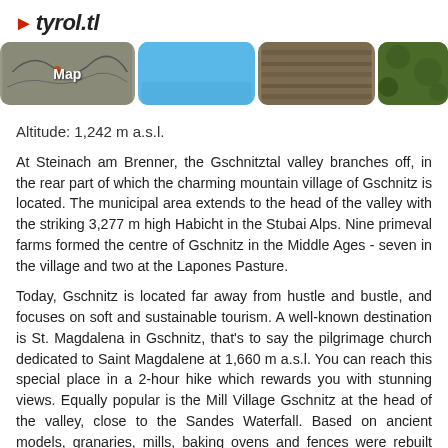▶tyrol.tl
[Figure (screenshot): Four image thumbnails in a horizontal strip: a map tile labeled 'Map', a solid blue tile, a wooden fence/plank texture, and a green moss/foliage texture.]
Altitude: 1,242 m a.s.l.
At Steinach am Brenner, the Gschnitztal valley branches off, in the rear part of which the charming mountain village of Gschnitz is located. The municipal area extends to the head of the valley with the striking 3,277 m high Habicht in the Stubai Alps. Nine primeval farms formed the centre of Gschnitz in the Middle Ages - seven in the village and two at the Lapones Pasture.
Today, Gschnitz is located far away from hustle and bustle, and focuses on soft and sustainable tourism. A well-known destination is St. Magdalena in Gschnitz, that's to say the pilgrimage church dedicated to Saint Magdalene at 1,660 m a.s.l. You can reach this special place in a 2-hour hike which rewards you with stunning views. Equally popular is the Mill Village Gschnitz at the head of the valley, close to the Sandes Waterfall. Based on ancient models, granaries, mills, baking ovens and fences were rebuilt with original materials and